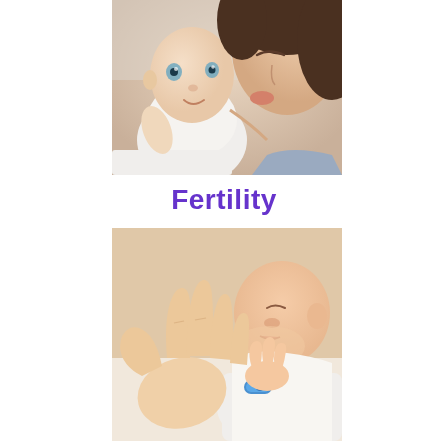[Figure (photo): A mother kissing a smiling baby on the cheek; baby is dressed in white and looking at the camera.]
Fertility
[Figure (photo): Close-up of an adult hand holding a newborn baby's tiny hand; the newborn is wearing a blue hospital identification bracelet.]